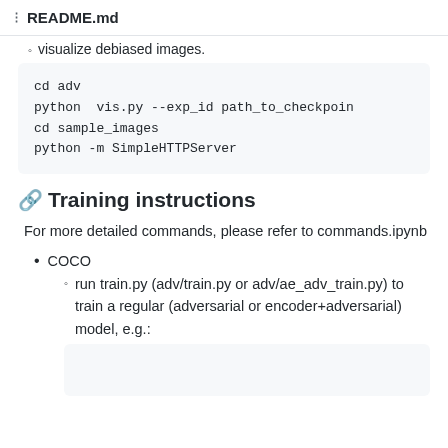README.md
visualize debiased images.
cd adv
python  vis.py --exp_id path_to_checkpoint
cd sample_images
python -m SimpleHTTPServer
Training instructions
For more detailed commands, please refer to commands.ipynb
COCO
run train.py (adv/train.py or adv/ae_adv_train.py) to train a regular (adversarial or encoder+adversarial) model, e.g.: